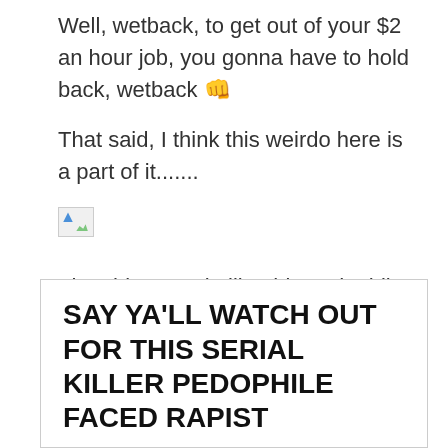Well, wetback, to get out of your $2 an hour job, you gonna have to hold back, wetback 👊
That said, I think this weirdo here is a part of it.......
[Figure (other): Broken image placeholder icon]
They hire people like this pedophile here who can't get hired anywhere else. I sense he into lil boys. I sense this mofo on some sex offender registry. You can't tell me this mofo ain't on no sex offender registry. I covered him here......
SAY YA'LL WATCH OUT FOR THIS SERIAL KILLER PEDOPHILE FACED RAPIST